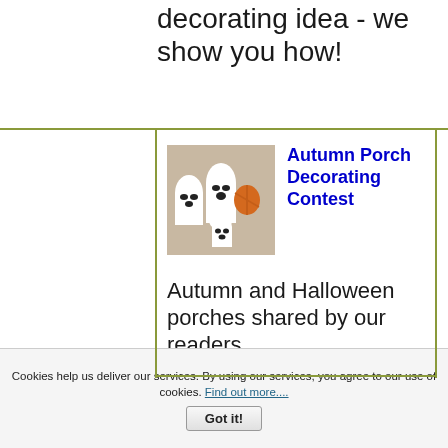decorating idea - we show you how!
[Figure (photo): Ghost decorations made from white fabric/cloth shaped into ghost figures with smiley faces, posed on a porch with a pumpkin in Halloween/autumn style]
Autumn Porch Decorating Contest
Autumn and Halloween porches shared by our readers
Cookies help us deliver our services. By using our services, you agree to our use of cookies. Find out more....
Got it!